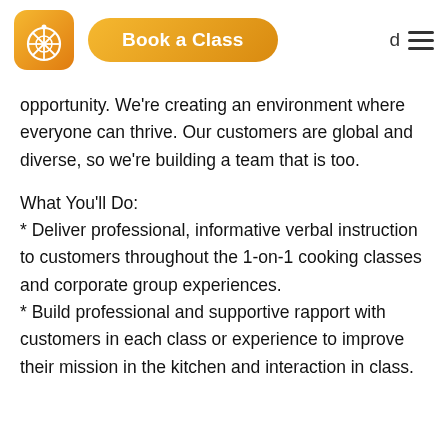[Figure (logo): Orange/yellow gradient rounded square logo with white citrus slice icon]
Book a Class
opportunity. We're creating an environment where everyone can thrive. Our customers are global and diverse, so we're building a team that is too.
What You'll Do:
* Deliver professional, informative verbal instruction to customers throughout the 1-on-1 cooking classes and corporate group experiences.
* Build professional and supportive rapport with customers in each class or experience to improve their mission in the kitchen and interaction in class.